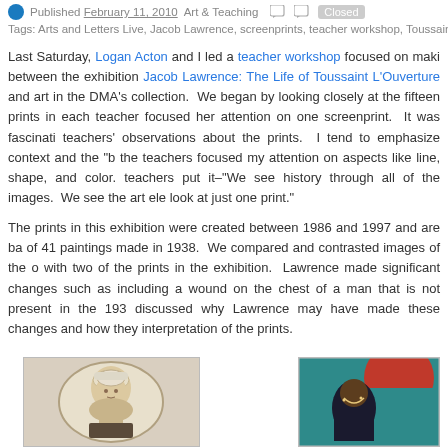Published February 11, 2010 Art & Teaching  Closed
Tags: Arts and Letters Live, Jacob Lawrence, screenprints, teacher workshop, Toussaint L'Ou...
Last Saturday, Logan Acton and I led a teacher workshop focused on making connections between the exhibition Jacob Lawrence: The Life of Toussaint L'Ouverture and art in the DMA's collection. We began by looking closely at the fifteen prints in the show; each teacher focused her attention on one screenprint. It was fascinating to hear the teachers' observations about the prints. I tend to emphasize context and the "big picture," but the teachers focused my attention on aspects like line, shape, and color. As one of the teachers put it–"We see history through all of the images. We see the art elements when we look at just one print."
The prints in this exhibition were created between 1986 and 1997 and are based on a series of 41 paintings made in 1938. We compared and contrasted images of the original paintings with two of the prints in the exhibition. Lawrence made significant changes to the images, such as including a wound on the chest of a man that is not present in the 1938 painting. We discussed why Lawrence may have made these changes and how they affect our interpretation of the prints.
[Figure (photo): Portrait painting of a man with white wig, classical style, oval frame]
[Figure (photo): Colorful screenprint artwork showing a figure in red, teal, and dark colors, Jacob Lawrence style]